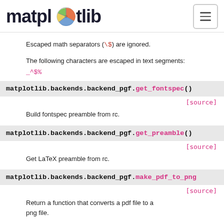matplotlib
Escaped math separators (\$) are ignored.
The following characters are escaped in text segments:
_^$%
matplotlib.backends.backend_pgf.get_fontspec()
[source]
Build fontspec preamble from rc.
matplotlib.backends.backend_pgf.get_preamble()
[source]
Get LaTeX preamble from rc.
matplotlib.backends.backend_pgf.make_pdf_to_png
[source]
Return a function that converts a pdf file to a png file.